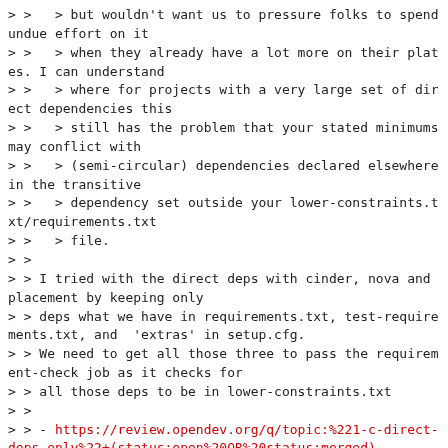> >   > but wouldn't want us to pressure folks to spend undue effort on it
> >   > when they already have a lot more on their plates. I can understand
> >   > where for projects with a very large set of direct dependencies this
> >   > still has the problem that your stated minimums may conflict with
> >   > (semi-circular) dependencies declared elsewhere in the transitive
> >   > dependency set outside your lower-constraints.txt/requirements.txt
> >   > file.
> >
> > I tried with the direct deps with cinder, nova and placement by keeping only
> > deps what we have in requirements.txt, test-requirements.txt, and  'extras' in setup.cfg.
> > We need to get all those three to pass the requirement-check job as it checks for
> > all those deps to be in lower-constraints.txt
> >
> > - https://review.opendev.org/q/topic:%221-c-direct-deps-only%22+(status:open%20OR%20status:merged)
> >